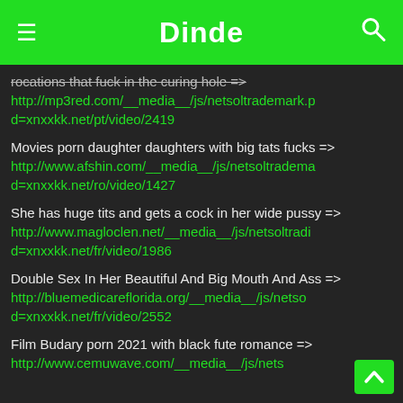Dinde
rocations that fuck in the curing hole =>
http://mp3red.com/__media__/js/netsoltrademark.p d=xnxxkk.net/pt/video/2419
Movies porn daughter daughters with big tats fucks =>
http://www.afshin.com/__media__/js/netsoltradema d=xnxxkk.net/ro/video/1427
She has huge tits and gets a cock in her wide pussy =>
http://www.magloclen.net/__media__/js/netsoltradi d=xnxxkk.net/fr/video/1986
Double Sex In Her Beautiful And Big Mouth And Ass =>
http://bluemedicareflorida.org/__media__/js/netso d=xnxxkk.net/fr/video/2552
Film Budary porn 2021 with black fute romance =>
http://www.cemuwave.com/__media__/js/nets d=xnxxkk.net/tr/video/2253